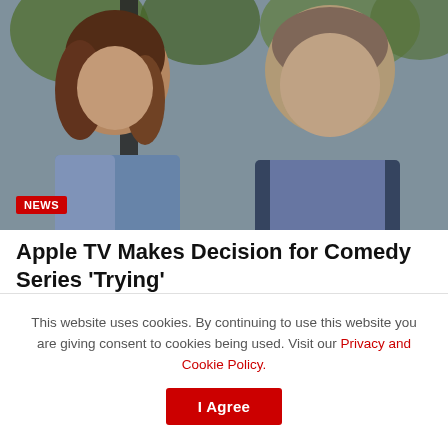[Figure (photo): A woman with brown wavy hair wearing a denim jacket and a man in a dark jacket over a blue shirt, both looking concerned or serious, seated outdoors with greenery in the background. A red 'NEWS' badge appears in the bottom-left corner of the image.]
Apple TV Makes Decision for Comedy Series 'Trying'
AUGUST 31, 2022
This website uses cookies. By continuing to use this website you are giving consent to cookies being used. Visit our Privacy and Cookie Policy.